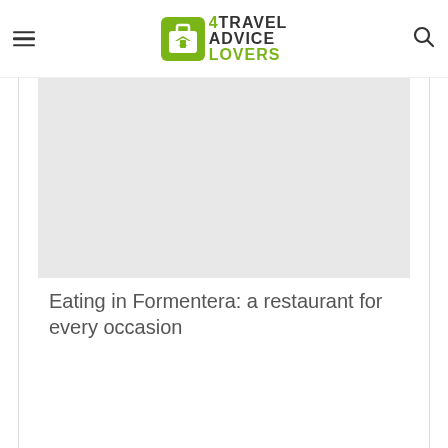[Figure (logo): 4TravelAdviceLovers logo with green suitcase icon and text '4TRAVEL ADVICE LOVERS']
[Figure (photo): Gray placeholder image area for article photo]
Eating in Formentera: a restaurant for every occasion